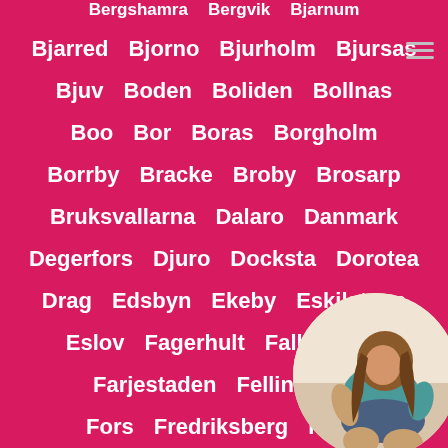Bergshamra  Bergvik  Bjarnum
Bjarred  Bjorno  Bjurholm  Bjursas
Bjuv  Boden  Boliden  Bollnas
Boo  Bor  Boras  Borgholm
Borrby  Bracke  Broby  Brosarp
Bruksvallarna  Dalaro  Danmark
Degerfors  Djuro  Docksta  Dorotea
Drag  Edsbyn  Ekeby  Eskilstuna
Eslov  Fagerhult  Falkenberg
Farjestaden  Fellingsbro
Fors  Fredriksberg  Frovi
[Figure (photo): Circular avatar photo of a person in bottom-right corner, partially cropped by page edge]